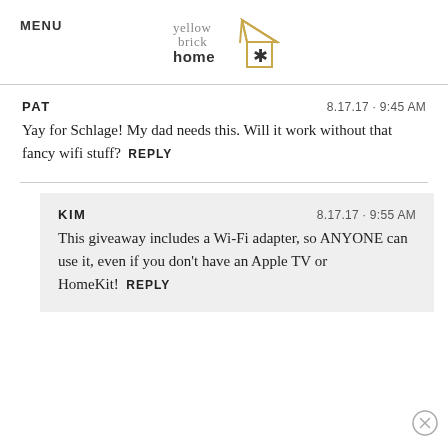MENU | yellow brick home
PAT   8.17.17 · 9:45 AM
Yay for Schlage! My dad needs this. Will it work without that fancy wifi stuff?  REPLY
KIM   8.17.17 · 9:55 AM
This giveaway includes a Wi-Fi adapter, so ANYONE can use it, even if you don't have an Apple TV or HomeKit!  REPLY